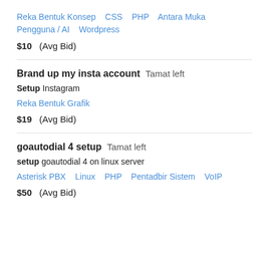Reka Bentuk Konsep   CSS   PHP   Antara Muka Pengguna / AI   Wordpress
$10  (Avg Bid)
Brand up my insta account  Tamat left
Setup Instagram
Reka Bentuk Grafik
$19  (Avg Bid)
goautodial 4 setup  Tamat left
setup goautodial 4 on linux server
Asterisk PBX   Linux   PHP   Pentadbir Sistem   VoIP
$50  (Avg Bid)